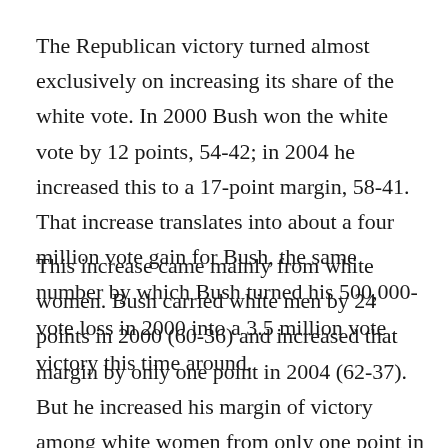The Republican victory turned almost exclusively on increasing its share of the white vote. In 2000 Bush won the white vote by 12 points, 54-42; in 2004 he increased this to a 17-point margin, 58-41. That increase translates into about a four million vote gain for Bush, the same number by which Bush turned his 500,000-vote loss in 2000 into a 3.5 million vote victory this time around.
This increase came mainly from white women. Bush carried white men by 24 points in 2000 (60-36) and increased that margin by only one point in 2004 (62-37). But he increased his margin of victory among white women from only one point in 2000 (49-48) to 11 points in 2004 (55-44). This accounts for a four million plus